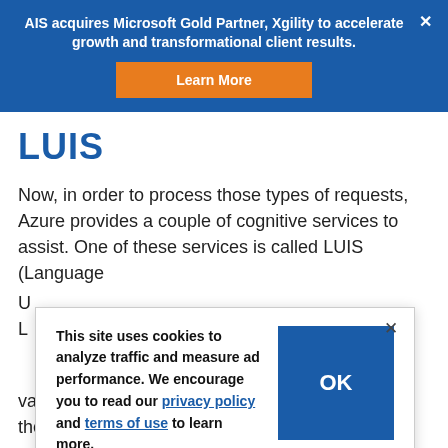AIS acquires Microsoft Gold Partner, Xgility to accelerate growth and transformational client results.
Learn More
LUIS
Now, in order to process those types of requests, Azure provides a couple of cognitive services to assist. One of these services is called LUIS (Language
This site uses cookies to analyze traffic and measure ad performance. We encourage you to read our privacy policy and terms of use to learn more.
value ranging from 0–1 inclusive) associated with the